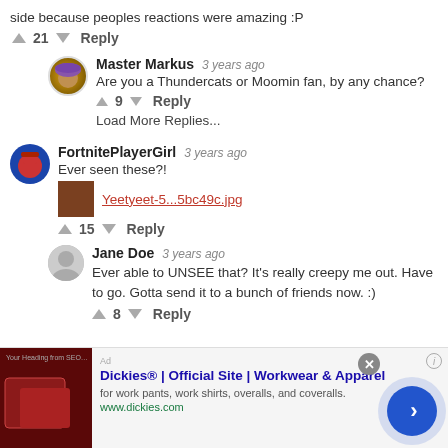side because peoples reactions were amazing :P
↑ 21 ↓  Reply
Master Markus  3 years ago
Are you a Thundercats or Moomin fan, by any chance?
↑ 9 ↓  Reply
Load More Replies...
FortnitePlayerGirl  3 years ago
Ever seen these?!
Yeetyeet-5...5bc49c.jpg
↑ 15 ↓  Reply
Jane Doe  3 years ago
Ever able to UNSEE that? It's really creepy me out. Have to go. Gotta send it to a bunch of friends now. :)
↑ 8 ↓  Reply
[Figure (screenshot): Advertisement banner for Dickies workwear with thumbnail image of red leather seats, ad title 'Dickies® | Official Site | Workwear & Apparel', subtitle 'for work pants, work shirts, overalls, and coveralls.', URL 'www.dickies.com', and a blue next button.]